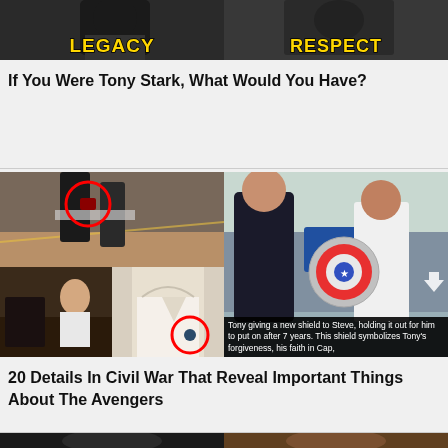[Figure (screenshot): Two side-by-side thumbnail images with yellow bold text: LEGACY on left, RESPECT on right, over dark movie/show stills]
If You Were Tony Stark, What Would You Have?
[Figure (screenshot): Collage of Marvel Civil War movie screenshots: top-left shows a character's waist with red circle highlight, bottom-left split shows two scenes including a woman and a close-up with circle highlight, right side shows Tony giving a shield to Steve with caption text]
Tony giving a new shield to Steve, holding it out for him to put on after 7 years. This shield symbolizes Tony's forgiveness, his faith in Cap,
20 Details In Civil War That Reveal Important Things About The Avengers
[Figure (screenshot): Two side-by-side thumbnail images showing a male celebrity face on the left (young) and right (older) on dark backgrounds]